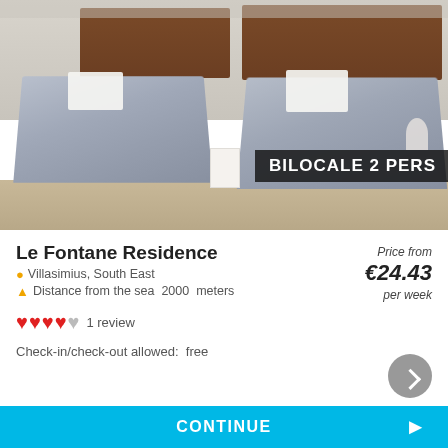[Figure (photo): Hotel room photo showing two single beds with blue/gray bedding and white towels on top, wooden headboard spanning both beds, light-colored floor, white walls. Overlay text in bottom-right corner reads 'BILOCALE 2 PERS']
Le Fontane Residence
Villasimius, South East
Distance from the sea  2000  meters
Price from €24.43 per week
1 review
Check-in/check-out allowed:  free
CONTINUE